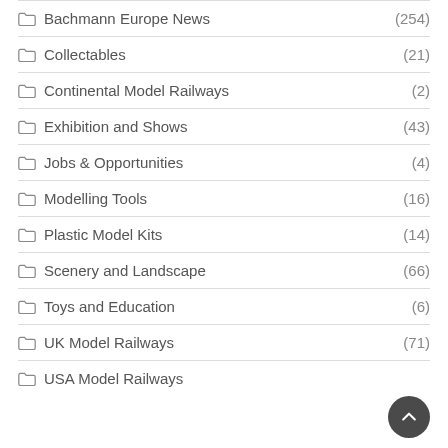Bachmann Europe News (254)
Collectables (21)
Continental Model Railways (2)
Exhibition and Shows (43)
Jobs & Opportunities (4)
Modelling Tools (16)
Plastic Model Kits (14)
Scenery and Landscape (66)
Toys and Education (6)
UK Model Railways (71)
USA Model Railways